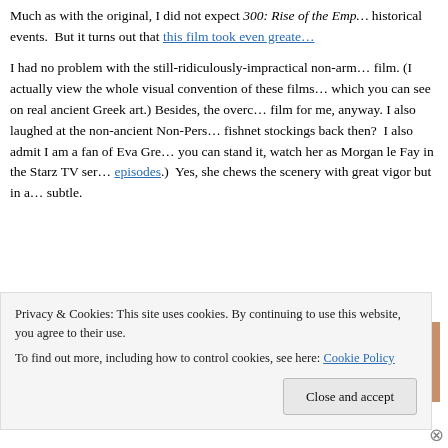Much as with the original, I did not expect 300: Rise of the Emp… historical events. But it turns out that this film took even greate…
I had no problem with the still-ridiculously-impractical non-arm… film. (I actually view the whole visual convention of these films… which you can see on real ancient Greek art.) Besides, the overc… film for me, anyway. I also laughed at the non-ancient Non-Pers… fishnet stockings back then? I also admit I am a fan of Eva Gre… you can stand it, watch her as Morgan le Fay in the Starz TV ser… episodes.) Yes, she chews the scenery with great vigor but in a… subtle.
[Figure (screenshot): Partial screenshot showing a dark navy background with a person with curly hair visible at the right edge.]
Privacy & Cookies: This site uses cookies. By continuing to use this website, you agree to their use.
To find out more, including how to control cookies, see here: Cookie Policy
Close and accept